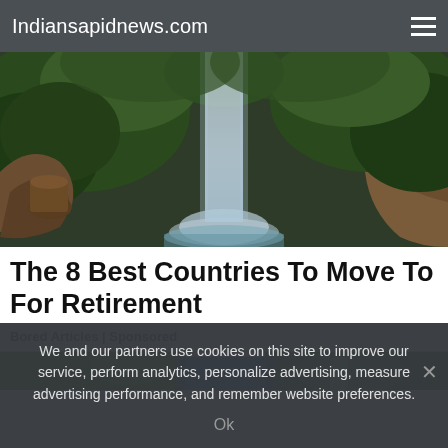Indiansapidnews.com
[Figure (photo): A waterfall cascading down rocky cliffs surrounded by lush green tropical vegetation]
The 8 Best Countries To Move To For Retirement
Bored Articles | Sponsored
[Figure (photo): Partial view of a person outdoors with green background]
We and our partners use cookies on this site to improve our service, perform analytics, personalize advertising, measure advertising performance, and remember website preferences.